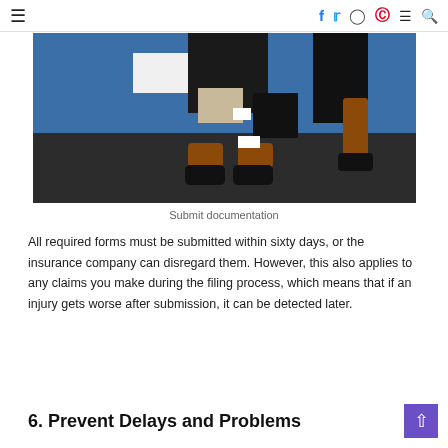≡  f  🐦  ○  ⊕  ≡  🔍
[Figure (illustration): Stylized illustration of a person's lower body (legs with brown boots and black shoes) against a blue and dark background, carrying papers/briefcase — representing document submission.]
Submit documentation
All required forms must be submitted within sixty days, or the insurance company can disregard them. However, this also applies to any claims you make during the filing process, which means that if an injury gets worse after submission, it can be detected later.
6. Prevent Delays and Problems